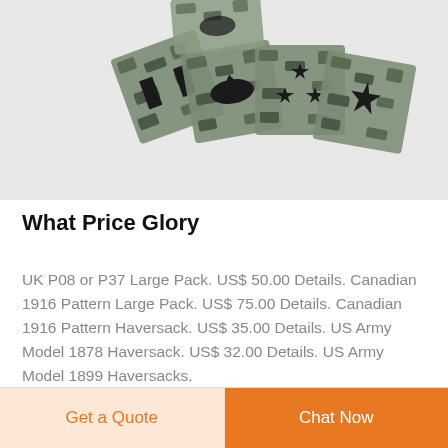[Figure (photo): A fanned-out collection of military ACU digital camouflage rank insignia patches showing various US Army officer ranks including captain bars, eagle (colonel), three stars (lieutenant general), and general star patches.]
What Price Glory
UK P08 or P37 Large Pack. US$ 50.00 Details. Canadian 1916 Pattern Large Pack. US$ 75.00 Details. Canadian 1916 Pattern Haversack. US$ 35.00 Details. US Army Model 1878 Haversack. US$ 32.00 Details. US Army Model 1899 Haversacks.
Get a Quote
Chat Now